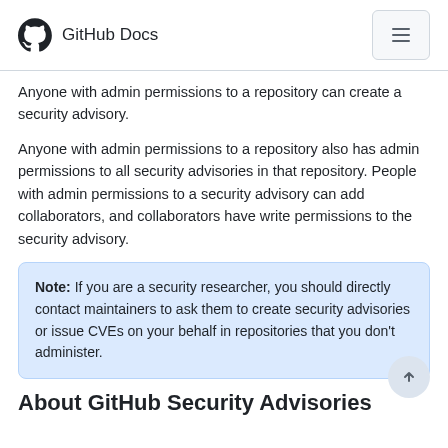GitHub Docs
Anyone with admin permissions to a repository can create a security advisory.
Anyone with admin permissions to a repository also has admin permissions to all security advisories in that repository. People with admin permissions to a security advisory can add collaborators, and collaborators have write permissions to the security advisory.
Note: If you are a security researcher, you should directly contact maintainers to ask them to create security advisories or issue CVEs on your behalf in repositories that you don't administer.
About GitHub Security Advisories